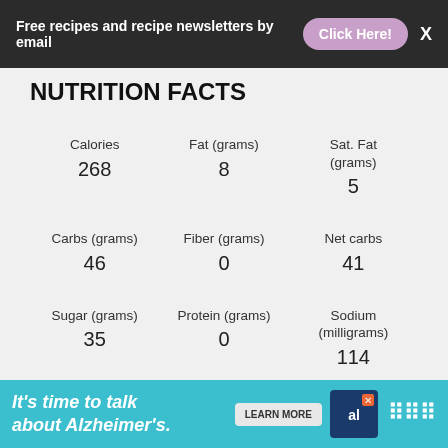Free recipes and recipe newsletters by email  Click Here!  X
NUTRITION FACTS
| Label | Value |
| --- | --- |
| Calories | 268 |
| Fat (grams) | 8 |
| Sat. Fat (grams) | 5 |
| Carbs (grams) | 46 |
| Fiber (grams) | 0 |
| Net carbs | 41 |
| Sugar (grams) | 35 |
| Protein (grams) | 0 |
| Sodium (milligrams) | 114 |
| Cholesterol (grams) |  |
It's time to talk about Alzheimer's.  LEARN MORE